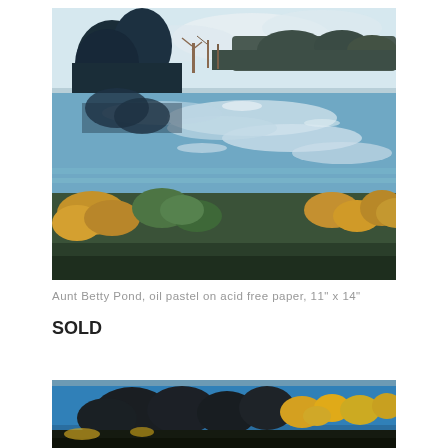[Figure (illustration): Oil pastel painting of Aunt Betty Pond: a landscape with a reflective pond or wetland. Dark evergreen trees on the left, sparse bare trees across the horizon, blue sky with clouds reflected in the water surface. Foreground has golden-yellow and green shrubs and grasses.]
Aunt Betty Pond, oil pastel on acid free paper, 11" x 14"
SOLD
[Figure (illustration): Partial view of another oil pastel landscape painting: dark tree silhouettes against a vivid blue sky, with yellow foliage and dark ground. Only the top strip of the painting is visible.]